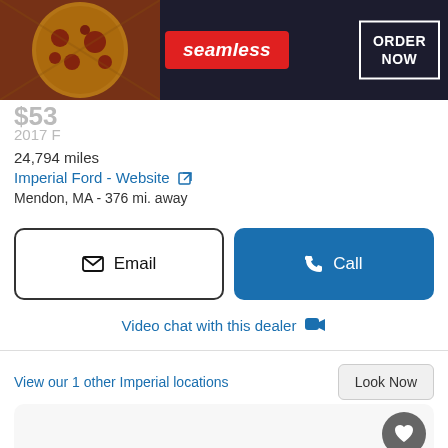[Figure (screenshot): Seamless food ordering advertisement banner with pizza image on left, red Seamless logo in center, and ORDER NOW button in white border on dark background]
$53
2017 F
24,794 miles
Imperial Ford - Website
Mendon, MA - 376 mi. away
Email
Call
Video chat with this dealer
View our 1 other Imperial locations
Look Now
[Figure (screenshot): Loading placeholder card with circular loading icon and IMAGE IS LOADING text, with heart/favorite button in upper right corner]